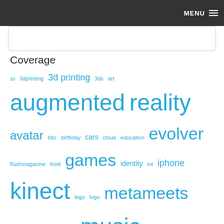MENU
Coverage
3d 3dprinting 3d printing 3ds art augmented reality avatar bbc birthday cars cloud education evolver flushmagazine food games identity iot iphone kinect lego logo metameets metaverse minecraft music olympics opensim opensource podcast poem presentation ps3 reprap robots science secondlife sport unity3d video virtual worlds virtual_worlds wimbledon xbox xbox360
Recent Comments
Anan on The Metaverse is calling again – think bigger
Heidi on A mess with Origin, EA and Xbox One accounts for kids